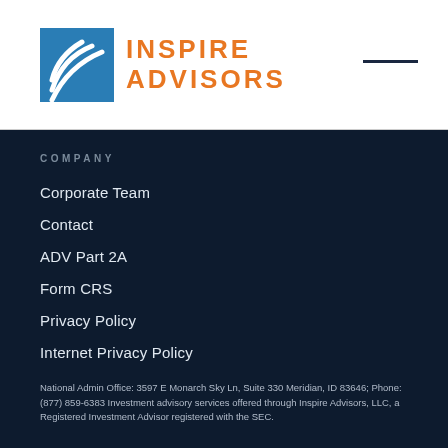[Figure (logo): Inspire Advisors logo with teal square icon containing white arc lines and orange text reading INSPIRE ADVISORS]
COMPANY
Corporate Team
Contact
ADV Part 2A
Form CRS
Privacy Policy
Internet Privacy Policy
National Admin Office: 3597 E Monarch Sky Ln, Suite 330 Meridian, ID 83646; Phone: (877) 859-6383 Investment advisory services offered through Inspire Advisors, LLC, a Registered Investment Advisor registered with the SEC.